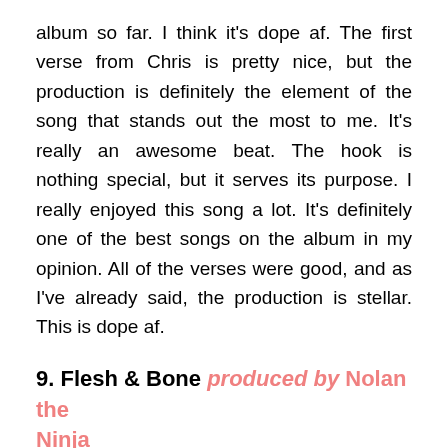album so far. I think it's dope af. The first verse from Chris is pretty nice, but the production is definitely the element of the song that stands out the most to me. It's really an awesome beat. The hook is nothing special, but it serves its purpose. I really enjoyed this song a lot. It's definitely one of the best songs on the album in my opinion. All of the verses were good, and as I've already said, the production is stellar. This is dope af.
9. Flesh & Bone produced by Nolan the Ninja
This song has yet another fantastic beat. I like this one a lot more than the previous Nolan the Ninja beat. Not that the previous one was bad. It was a great beat. This one is just far better in my opinion. I love how hard hitting the